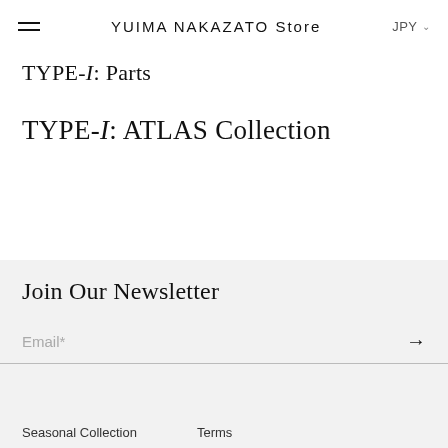YUIMA NAKAZATO Store  JPY
TYPE-I: Parts
TYPE-I: ATLAS Collection
Join Our Newsletter
Email*
Seasonal Collection    Terms